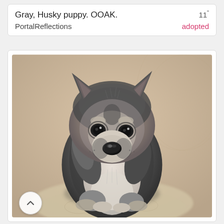Gray, Husky puppy. OOAK.    11"
PortalReflections    adopted
[Figure (photo): A close-up photo of a small gray and black Husky puppy sitting upright, facing the camera. The puppy has dark eyes, a black nose, fluffy gray and black fur with white markings on the face and chest. It appears to be sitting on a light-colored fabric surface with a beige wood-grain background.]